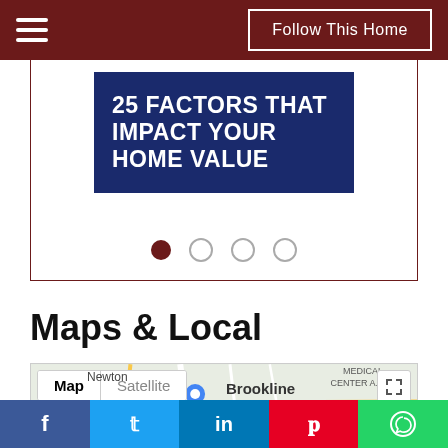Follow This Home
[Figure (infographic): Promotional banner with text '25 FACTORS THAT IMPACT YOUR HOME VALUE' on dark blue background, with carousel dot indicators below]
Maps & Local
[Figure (map): Google Maps preview showing Brookline area with Map/Satellite toggle, Newton label, Medical Center Area label, Larz Anderson label, and expand icon]
f  twitter  in  pinterest  whatsapp — social share bar